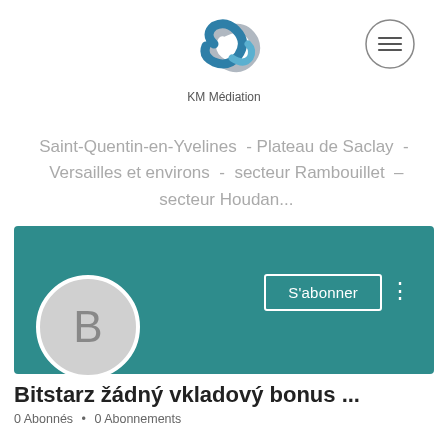[Figure (logo): KM Médiation logo — stylized ribbon/knot shape in blue and grey tones, with text 'KM Médiation' below]
[Figure (other): Hamburger menu button — three horizontal lines inside a circle outline]
Saint-Quentin-en-Yvelines  - Plateau de Saclay  -  Versailles et environs  -  secteur Rambouillet  –  secteur Houdan...
[Figure (other): Teal/dark cyan banner background with a 'S'abonner' (Subscribe) button outlined in white and a vertical three-dot menu icon]
[Figure (other): Circular avatar with light grey background and large letter B in grey]
Bitstarz žádný vkladový bonus ...
0 Abonnés • 0 Abonnements